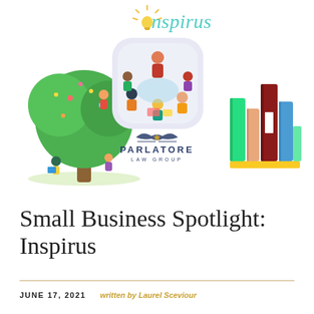[Figure (illustration): Inspirus brand header with logo text in teal cursive with lightbulb icon, flanked by three illustrations: children reading in a tree (left), teacher with students in a classroom circle (center, rounded square), and a stack of colorful books (right). Below the center illustration is the Parlatore Law Group logo with eagle emblem.]
Small Business Spotlight: Inspirus
JUNE 17, 2021   written by Laurel Sceviour